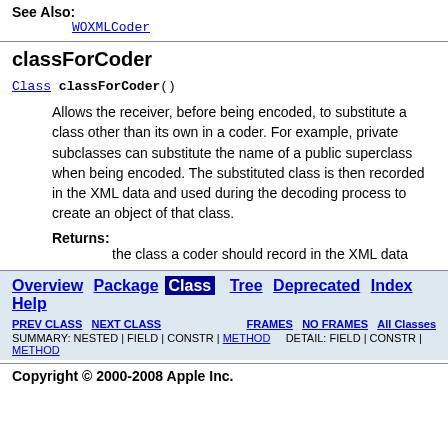See Also: WOXMLCoder
classForCoder
Class classForCoder()
Allows the receiver, before being encoded, to substitute a class other than its own in a coder. For example, private subclasses can substitute the name of a public superclass when being encoded. The substituted class is then recorded in the XML data and used during the decoding process to create an object of that class.
Returns: the class a coder should record in the XML data
Overview Package Class Tree Deprecated Index Help | PREV CLASS NEXT CLASS | FRAMES NO FRAMES All Classes | SUMMARY: NESTED | FIELD | CONSTR | METHOD | DETAIL: FIELD | CONSTR | METHOD
Copyright © 2000-2008 Apple Inc.